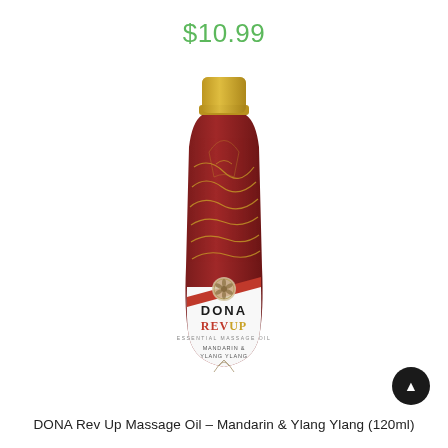$10.99
[Figure (photo): DONA Rev Up Essential Massage Oil bottle with dark red frosted glass body, gold cap, white label section showing DONA brand name, REV UP text, ESSENTIAL MASSAGE OIL subtitle, MANDARIN & YLANG YLANG scent, and decorative gold swirl patterns on the bottle body.]
DONA Rev Up Massage Oil – Mandarin & Ylang Ylang (120ml)